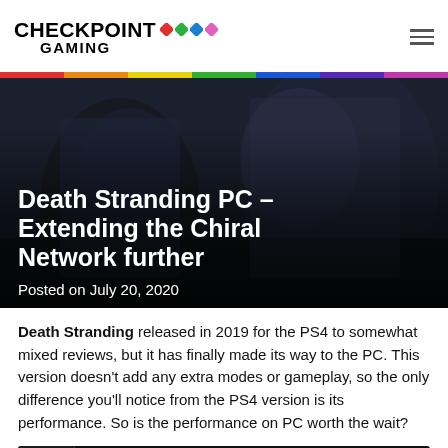Checkpoint Gaming
Death Stranding PC – Extending the Chiral Network further
Posted on July 20, 2020
Death Stranding released in 2019 for the PS4 to somewhat mixed reviews, but it has finally made its way to the PC. This version doesn't add any extra modes or gameplay, so the only difference you'll notice from the PS4 version is its performance. So is the performance on PC worth the wait?
[Figure (screenshot): YouTube video thumbnail with Checkpoint Gaming logo and title 'DEATH STRANDING PC – Launch ...']